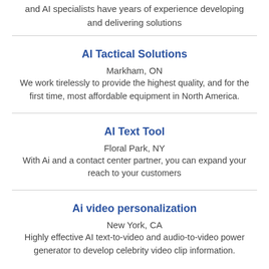and AI specialists have years of experience developing and delivering solutions
AI Tactical Solutions
Markham, ON
We work tirelessly to provide the highest quality, and for the first time, most affordable equipment in North America.
AI Text Tool
Floral Park, NY
With Ai and a contact center partner, you can expand your reach to your customers
Ai video personalization
New York, CA
Highly effective AI text-to-video and audio-to-video power generator to develop celebrity video clip information.